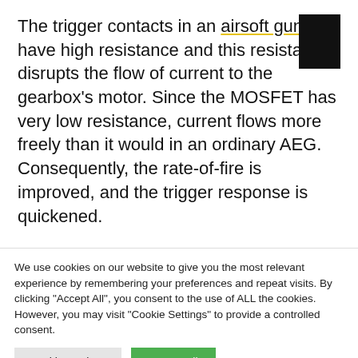The trigger contacts in an airsoft gun have high resistance and this resistance disrupts the flow of current to the gearbox's motor. Since the MOSFET has very low resistance, current flows more freely than it would in an ordinary AEG. Consequently, the rate-of-fire is improved, and the trigger response is quickened.
There is minimal risk of damage to the trigger contacts: after all, the MOSFET only needs to be
We use cookies on our website to give you the most relevant experience by remembering your preferences and repeat visits. By clicking "Accept All", you consent to the use of ALL the cookies. However, you may visit "Cookie Settings" to provide a controlled consent.